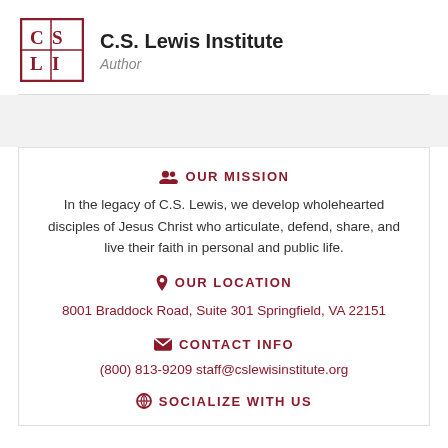[Figure (logo): C.S. Lewis Institute logo — square with CS and LI letters in dark red on white background with dark red border]
C.S. Lewis Institute
Author
OUR MISSION
In the legacy of C.S. Lewis, we develop wholehearted disciples of Jesus Christ who articulate, defend, share, and live their faith in personal and public life.
OUR LOCATION
8001 Braddock Road, Suite 301 Springfield, VA 22151
CONTACT INFO
(800) 813-9209 staff@cslewisinstitute.org
SOCIALIZE WITH US